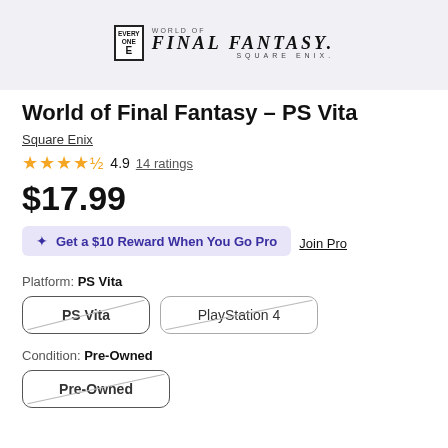[Figure (photo): World of Final Fantasy game box art showing ESRB rating box and Final Fantasy logo with Square Enix branding, on light gray background]
World of Final Fantasy - PS Vita
Square Enix
★★★★½ 4.9  14 ratings
$17.99
✦ Get a $10 Reward When You Go Pro  Join Pro
Platform: PS Vita
PS Vita  PlayStation 4
Condition: Pre-Owned
Pre-Owned